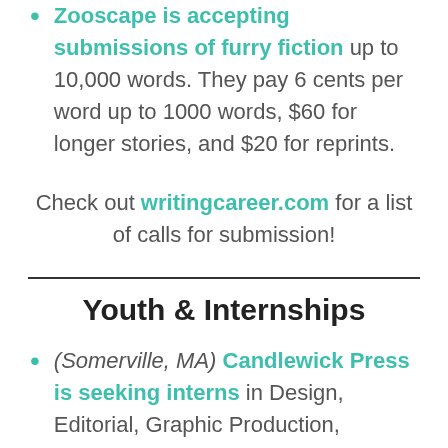Zooscape is accepting submissions of furry fiction up to 10,000 words. They pay 6 cents per word up to 1000 words, $60 for longer stories, and $20 for reprints.
Check out writingcareer.com for a list of calls for submission!
Youth & Internships
(Somerville, MA) Candlewick Press is seeking interns in Design, Editorial, Graphic Production, Marketing, Production and Manufacturing,